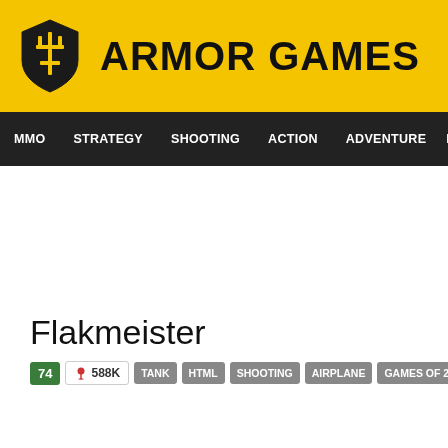ARMOR GAMES
MMO  STRATEGY  SHOOTING  ACTION  ADVENTURE  P
Flakmeister
74  588K  TANK  HTML  SHOOTING  AIRPLANE  GAMES OF 2017